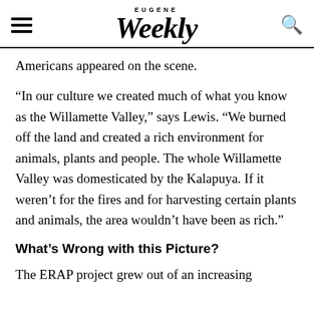EUGENE Weekly
Americans appeared on the scene.
“In our culture we created much of what you know as the Willamette Valley,” says Lewis. “We burned off the land and created a rich environment for animals, plants and people. The whole Willamette Valley was domesticated by the Kalapuya. If it weren’t for the fires and for harvesting certain plants and animals, the area wouldn’t have been as rich.”
What’s Wrong with this Picture?
The ERAP project grew out of an increasing